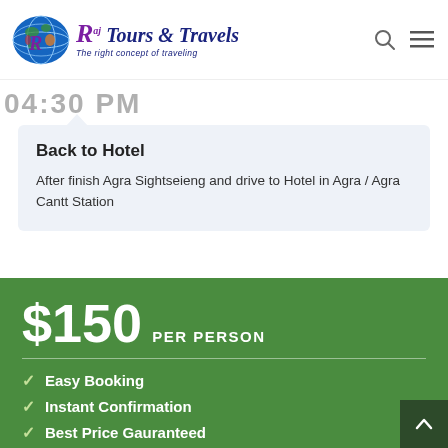[Figure (logo): Raj Tours & Travels logo with globe graphic. Tagline: The right concept of traveling]
04:30 PM
Back to Hotel
After finish Agra Sightseieng and drive to Hotel in Agra / Agra Cantt Station
$150 PER PERSON
Easy Booking
Instant Confirmation
Best Price Gauranteed